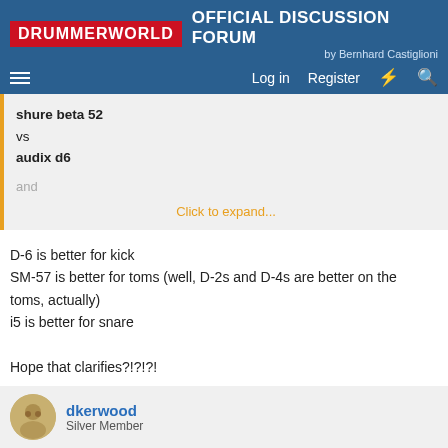DRUMMERWORLD OFFICIAL DISCUSSION FORUM by Bernhard Castiglioni
shure beta 52
vs
audix d6

and

Click to expand...
D-6 is better for kick
SM-57 is better for toms (well, D-2s and D-4s are better on the toms, actually)
i5 is better for snare

Hope that clarifies?!?!?!
dkerwood
Silver Member